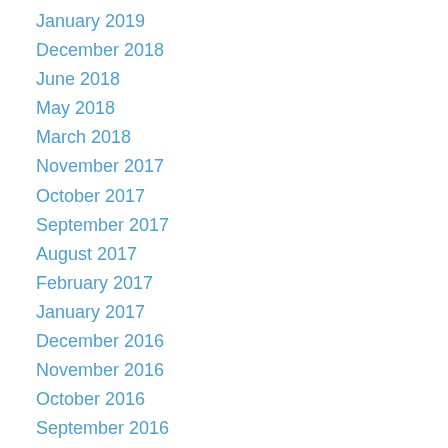January 2019
December 2018
June 2018
May 2018
March 2018
November 2017
October 2017
September 2017
August 2017
February 2017
January 2017
December 2016
November 2016
October 2016
September 2016
August 2016
July 2016
June 2016
May 2016
April 2016